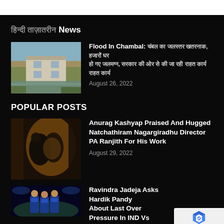हिंदी ताज़ातरीन News
[Figure (photo): Flood scene in Chambal showing submerged building and muddy water]
Flood In Chambal: चंबल का जलस्तर खतरनाक, हजारों घर हो गए जलमग्न, सरकार की ओर से की जा रही राहत कार्य राहत कार्य
August 26, 2022
POPULAR POSTS
[Figure (photo): Two people hugging in a cinema scene — Anurag Kashyap and PA Ranjith]
Anurag Kashyap Praised And Hugged Natchathiram Nagargiradhu Director PA Ranjith For His Work
August 29, 2022
[Figure (photo): Cricket players Ravindra Jadeja and Hardik Pandya in blue jerseys at stadium]
Ravindra Jadeja Asks Hardik Pandya About Last Over Pressure In IND Vs Asia Cup 2022